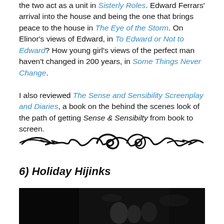the two act as a unit in Sisterly Roles. Edward Ferrars' arrival into the house and being the one that brings peace to the house in The Eye of the Storm. On Elinor's views of Edward, in To Edward or Not to Edward? How young girl's views of the perfect man haven't changed in 200 years, in Some Things Never Change.

I also reviewed The Sense and Sensibility Screenplay and Diaries, a book on the behind the scenes look of the path of getting Sense & Sensibilty from book to screen.
[Figure (illustration): Decorative horizontal flourish/swirl divider in black]
6) Holiday Hijinks
[Figure (photo): Dark/nighttime photograph of people, partially visible at bottom of page]